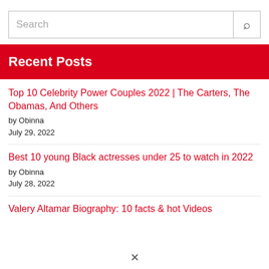Search
Recent Posts
Top 10 Celebrity Power Couples 2022 | The Carters, The Obamas, And Others
by Obinna
July 29, 2022
Best 10 young Black actresses under 25 to watch in 2022
by Obinna
July 28, 2022
Valery Altamar Biography: 10 facts & hot Videos